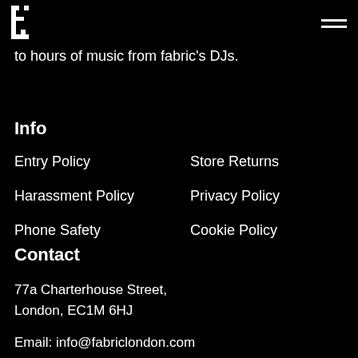fabric London logo and navigation menu
to hours of music from fabric's DJs.
Info
Entry Policy
Store Returns
Harassment Policy
Privacy Policy
Phone Safety
Cookie Policy
Contact
77a Charterhouse Street,
London, EC1M 6HJ
Email: info@fabriclondon.com